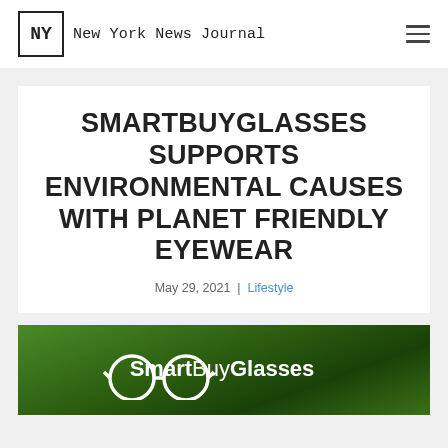NY — New York News Journal
SMARTBUYGLASSES SUPPORTS ENVIRONMENTAL CAUSES WITH PLANET FRIENDLY EYEWEAR
May 29, 2021 | Lifestyle
[Figure (photo): SmartBuyGlasses logo with glasses icon on green leafy background]